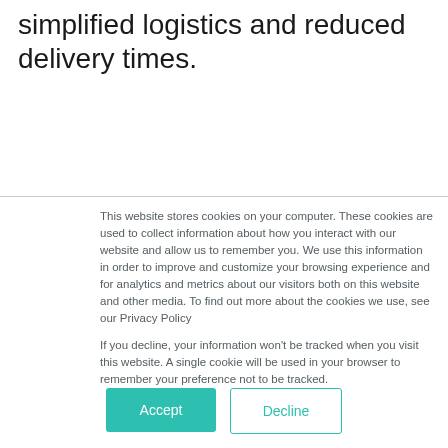simplified logistics and reduced delivery times.
This website stores cookies on your computer. These cookies are used to collect information about how you interact with our website and allow us to remember you. We use this information in order to improve and customize your browsing experience and for analytics and metrics about our visitors both on this website and other media. To find out more about the cookies we use, see our Privacy Policy
If you decline, your information won’t be tracked when you visit this website. A single cookie will be used in your browser to remember your preference not to be tracked.
Accept
Decline